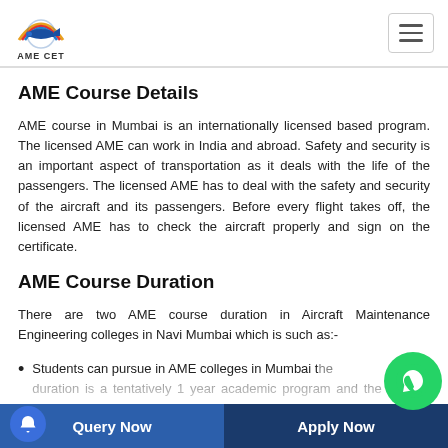AME CET
AME Course Details
AME course in Mumbai is an internationally licensed based program. The licensed AME can work in India and abroad. Safety and security is an important aspect of transportation as it deals with the life of the passengers. The licensed AME has to deal with the safety and security of the aircraft and its passengers. Before every flight takes off, the licensed AME has to check the aircraft properly and sign on the certificate.
AME Course Duration
There are two AME course duration in Aircraft Maintenance Engineering colleges in Navi Mumbai which is such as:-
Students can pursue in AME colleges in Mumbai the duration is a tentatively 1 year academic program and the other 1 year there will be practical training in the flying